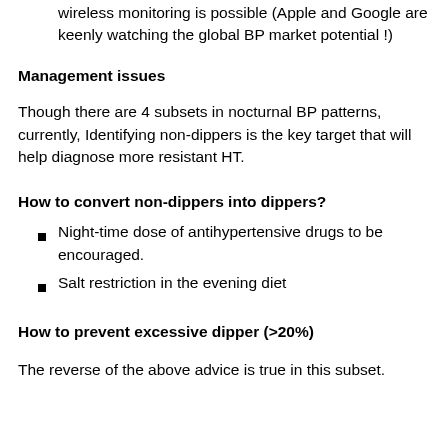wireless monitoring is possible (Apple and Google are keenly watching the global BP market potential !)
Management issues
Though there are 4 subsets in nocturnal BP patterns, currently, Identifying non-dippers is the key target that will help diagnose more resistant HT.
How to convert non-dippers into dippers?
Night-time dose of antihypertensive drugs to be encouraged.
Salt restriction in the evening diet
How to prevent excessive dipper (>20%)
The reverse of the above advice is true in this subset.